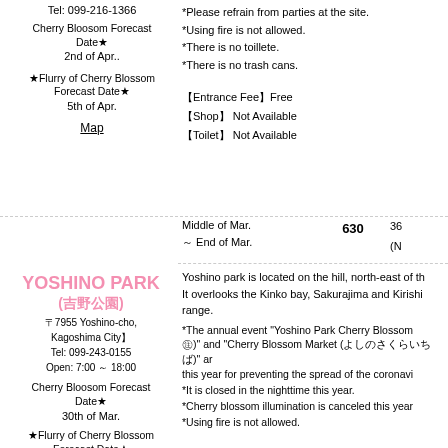Tel: 099-216-1366
Cherry Bloosom Forecast Date
2nd of Apr..
★Flurry of Cherry Blossom Forecast Date★
5th of Apr.
Map
*Please refrain from parties at the site.
*Using fire is not allowed.
*There is no toillete.
*There is no trash cans.
【Entrance Fee】Free
【Shop】 Not Available
【Toilet】 Not Available
YOSHINO PARK (吉野公園)
〒7955 Yoshino-cho, Kagoshima City】
Tel: 099-243-0155
Open: 7:00 ～ 18:00
Middle of Mar.
～ End of Mar.
630
36
(N
Yoshino park is located on the hill, north-east of th
It overlooks the Kinko bay, Sakurajima and Kirishi
range.
Cherry Bloosom Forecast Date
30th of Mar.
*The annual event "Yoshino Park Cherry Blossom ㊟)" and "Cherry Blossom Market (よしのさくらいちば)" ar this year for preventing the spread of the coronavi
*It is closed in the nighttime this year.
*Cherry blossom illumination is canceled this year
*Using fire is not allowed.
★Flurry of Cherry Blossom Forecast Date★
7th of Apr.